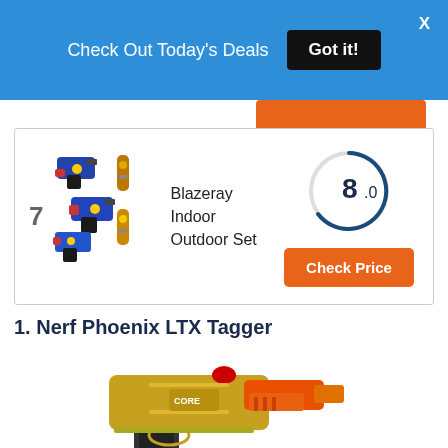Check Out Today's Deals  Got it!
[Figure (photo): Blazeray indoor outdoor laser tag set — multiple toy laser guns in red, blue and black]
7  Blazeray Indoor Outdoor Set
[Figure (other): Score gauge showing 8.0]
Check Price
1. Nerf Phoenix LTX Tagger
[Figure (photo): Gold and orange Nerf Phoenix LTX Tagger laser tag gun]